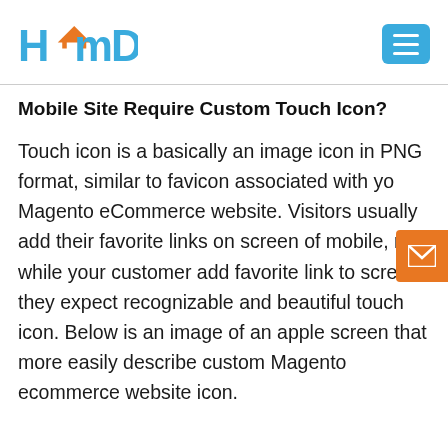HmD
Mobile Site Require Custom Touch Icon?
Touch icon is a basically an image icon in PNG format, similar to favicon associated with your Magento eCommerce website. Visitors usually add their favorite links on screen of mobile, now while your customer add favorite link to screen they expect recognizable and beautiful touch icon. Below is an image of an apple screen that more easily describe custom Magento ecommerce website icon.